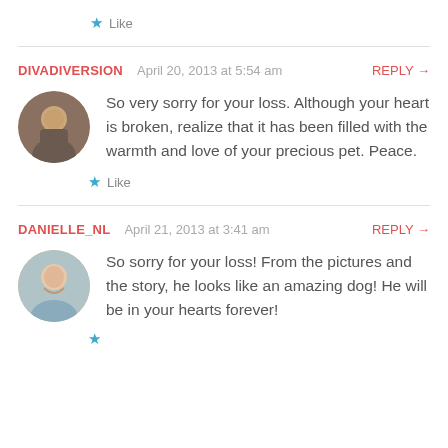★ Like
DIVADIVERSION   April 20, 2013 at 5:54 am   REPLY →
So very sorry for your loss. Although your heart is broken, realize that it has been filled with the warmth and love of your precious pet. Peace.
★ Like
DANIELLE_NL   April 21, 2013 at 3:41 am   REPLY →
So sorry for your loss! From the pictures and the story, he looks like an amazing dog! He will be in your hearts forever!
★ Like